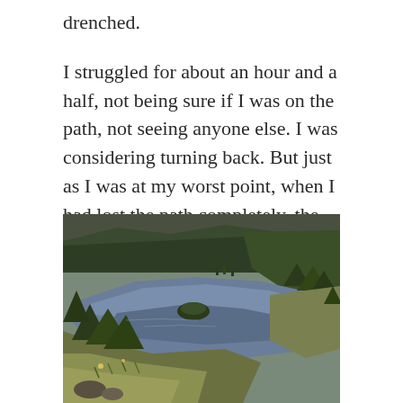drenched.
I struggled for about an hour and a half, not being sure if I was on the path, not seeing anyone else. I was considering turning back. But just as I was at my worst point, when I had lost the path completely, the fog floated away like a lost balloon in the wind. All of a sudden, I found myself at the very peak of the fell I was aiming for and I could see the reservoir I needed to get to.
[Figure (photo): Aerial view of a reservoir surrounded by forested hills and open moorland, with a small island visible in the water. The landscape is green with patches of conifer forest and open grassland in the foreground.]